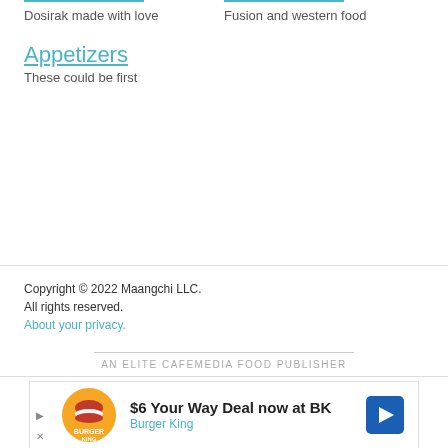Dosirak made with love
Fusion and western food
Appetizers
These could be first
Copyright © 2022 Maangchi LLC.
All rights reserved.
About your privacy.
AN ELITE CAFEMEDIA FOOD PUBLISHER
[Figure (other): Burger King advertisement banner: $6 Your Way Deal now at BK, Burger King]